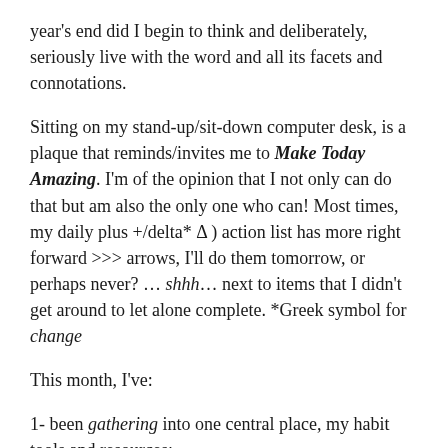year's end did I begin to think and deliberately, seriously live with the word and all its facets and connotations.
Sitting on my stand-up/sit-down computer desk, is a plaque that reminds/invites me to Make Today Amazing. I'm of the opinion that I not only can do that but am also the only one who can! Most times, my daily plus +/delta* Δ ) action list has more right forward >>> arrows, I'll do them tomorrow, or perhaps never? … shhh… next to items that I didn't get around to let alone complete. *Greek symbol for change
This month, I've:
1- been gathering into one central place, my habit tools and resources: